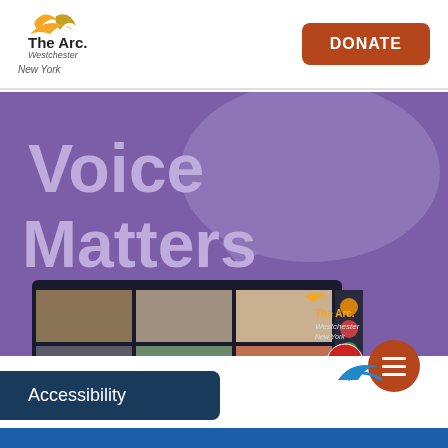[Figure (logo): The Arc Westchester New York logo with orange swoosh graphic]
DONATE
[Figure (photo): Voice Matters event promotional image with purple background showing a Zoom video call with multiple participants, and logos for The Arc Westchester New York and Manhattanville College]
Accessibility